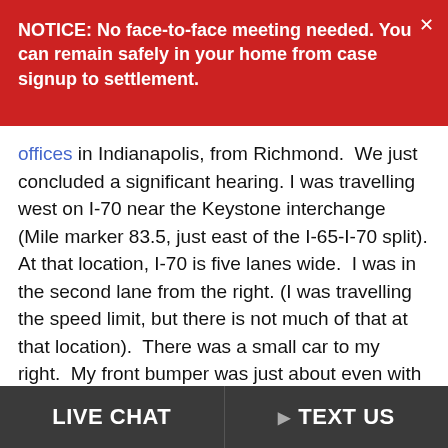NOTICE: No face-to-face meeting needed. You can remain safely in your home from case signup to settlement.
offices in Indianapolis, from Richmond. We just concluded a significant hearing. I was travelling west on I-70 near the Keystone interchange (Mile marker 83.5, just east of the I-65-I-70 split). At that location, I-70 is five lanes wide. I was in the second lane from the right. (I was travelling the speed limit, but there is not much of that at that location). There was a small car to my right. My front bumper was just about even with his back bumper. I was in his blind spot. He put on his left turn signal and immediately started to move into my lane. He obviously did not know I was there and did not bother to turn his head to look before moving o...
LIVE CHAT
TEXT US